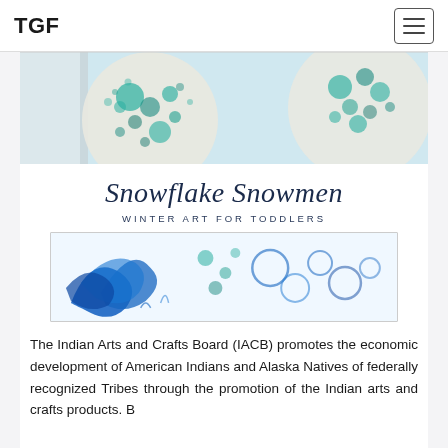TGF
[Figure (photo): Photo of circular art pieces with blue/teal bubble paint patterns on white discs, displayed on a window]
[Figure (illustration): Snowflake Snowmen — Winter Art for Toddlers title card with cursive script and subtitle, alongside blue bubble paint art photo]
The Indian Arts and Crafts Board (IACB) promotes the economic development of American Indians and Alaska Natives of federally recognized Tribes through the promotion of the Indian arts and crafts products. B...